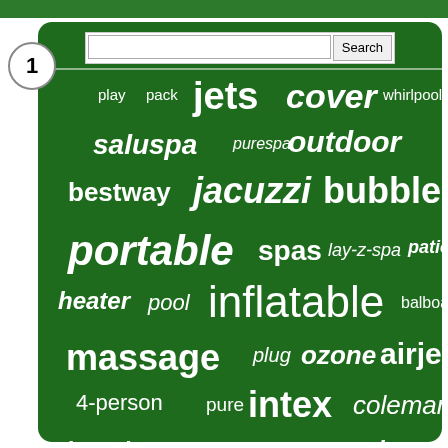[Figure (other): Word cloud on a dark green background showing hot tub and spa related search terms of varying sizes. Terms include: jets, cover, whirlpool, play, pack, saluspa, purespa, outdoor, bestway, jacuzzi, bubble, portable, spas, lay-z-spa, patio, heater, pool, inflatable, balboa, massage, plug, ozone, airjet, 4-person, pure, intex, coleman, brand, person, filter, lounger, pump, 6-person, heated, control. A search bar is at the top.]